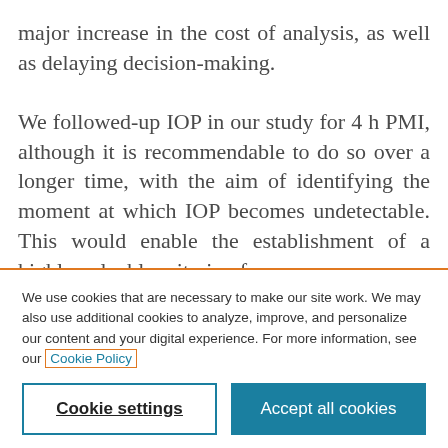major increase in the cost of analysis, as well as delaying decision-making.

We followed-up IOP in our study for 4 h PMI, although it is recommendable to do so over a longer time, with the aim of identifying the moment at which IOP becomes undetectable. This would enable the establishment of a highly valuable criterion for
We use cookies that are necessary to make our site work. We may also use additional cookies to analyze, improve, and personalize our content and your digital experience. For more information, see our Cookie Policy
Cookie settings
Accept all cookies